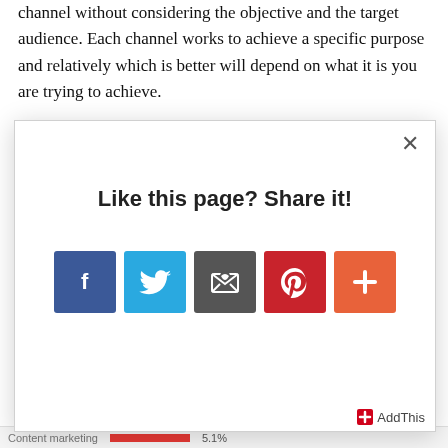channel without considering the objective and the target audience. Each channel works to achieve a specific purpose and relatively which is better will depend on what it is you are trying to achieve.
However, as an average B2B perspective, a view by Marketing Charts provides an interesting external
[Figure (screenshot): Modal popup overlay with 'Like this page? Share it!' heading and social sharing icons: Facebook, Twitter, Email, Pinterest, and a plus button. AddThis branding in bottom right.]